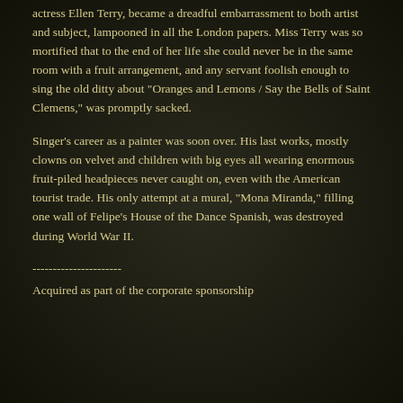actress Ellen Terry, became a dreadful embarrassment to both artist and subject, lampooned in all the London papers. Miss Terry was so mortified that to the end of her life she could never be in the same room with a fruit arrangement, and any servant foolish enough to sing the old ditty about "Oranges and Lemons / Say the Bells of Saint Clemens," was promptly sacked.
Singer's career as a painter was soon over. His last works, mostly clowns on velvet and children with big eyes all wearing enormous fruit-piled headpieces never caught on, even with the American tourist trade. His only attempt at a mural, "Mona Miranda," filling one wall of Felipe's House of the Dance Spanish, was destroyed during World War II.
----------------------
Acquired as part of the corporate sponsorship